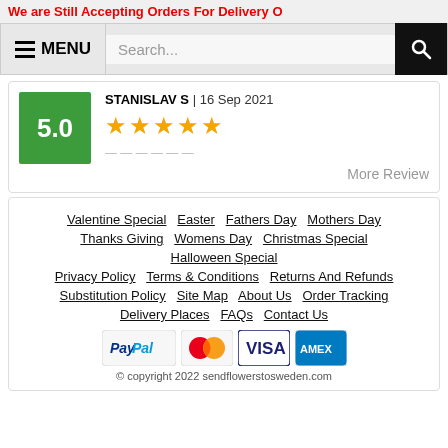We are Still Accepting Orders For Delivery O
[Figure (screenshot): Navigation bar with hamburger menu icon, MENU label, search box placeholder 'Search...', and black search button]
STANISLAV S | 16 Sep 2021 — 5.0 rating with 5 stars
More Review
Valentine Special  Easter  Fathers Day  Mothers Day  Thanks Giving  Womens Day  Christmas Special  Halloween Special  Privacy Policy  Terms & Conditions  Returns And Refunds  Substitution Policy  Site Map  About Us  Order Tracking  Delivery Places  FAQs  Contact Us
[Figure (logo): Payment method logos: PayPal, MasterCard, Visa, American Express]
© copyright 2022 sendflowerstosweden.com